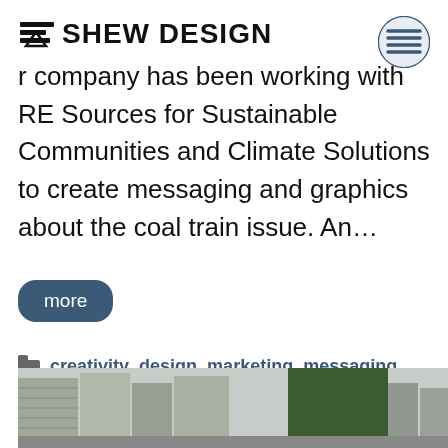SHEW DESIGN
r company has been working with RE Sources for Sustainable Communities and Climate Solutions to create messaging and graphics about the coal train issue. An…
more
creativity, design, marketing, messaging
campaigns, coal train, messaging
[Figure (photo): Street-level photo of buildings and trees in an urban setting]